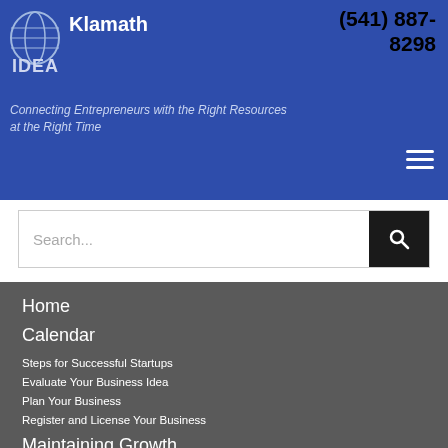Klamath IDEA — Connecting Entrepreneurs with the Right Resources at the Right Time — (541) 887-8298
[Figure (logo): Klamath IDEA logo with globe/brain icon and text]
(541) 887-8298
Connecting Entrepreneurs with the Right Resources at the Right Time
Search...
Home
Calendar
Steps for Successful Startups
Evaluate Your Business Idea
Plan Your Business
Register and License Your Business
Maintaining Growth